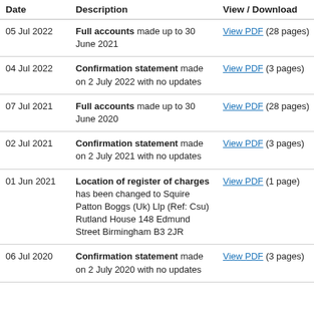| Date | Description | View / Download |
| --- | --- | --- |
| 05 Jul 2022 | Full accounts made up to 30 June 2021 | View PDF (28 pages) |
| 04 Jul 2022 | Confirmation statement made on 2 July 2022 with no updates | View PDF (3 pages) |
| 07 Jul 2021 | Full accounts made up to 30 June 2020 | View PDF (28 pages) |
| 02 Jul 2021 | Confirmation statement made on 2 July 2021 with no updates | View PDF (3 pages) |
| 01 Jun 2021 | Location of register of charges has been changed to Squire Patton Boggs (Uk) Llp (Ref: Csu) Rutland House 148 Edmund Street Birmingham B3 2JR | View PDF (1 page) |
| 06 Jul 2020 | Confirmation statement made on 2 July 2020 with no updates | View PDF (3 pages) |